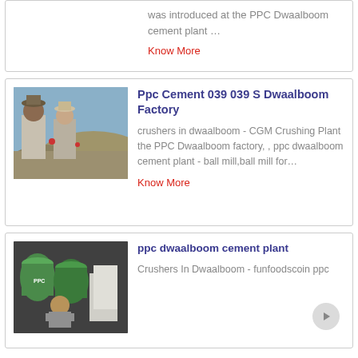was introduced at the PPC Dwaalboom cement plant …
Know More
Ppc Cement 039 039 S Dwaalboom Factory
[Figure (photo): Two workers in grey uniforms standing outdoors with hills in the background]
crushers in dwaalboom - CGM Crushing Plant the PPC Dwaalboom factory, , ppc dwaalboom cement plant - ball mill,ball mill for…
Know More
ppc dwaalboom cement plant
[Figure (photo): Person sitting on ground next to large containers/bags of PPC cement]
Crushers In Dwaalboom - funfoodscoin ppc